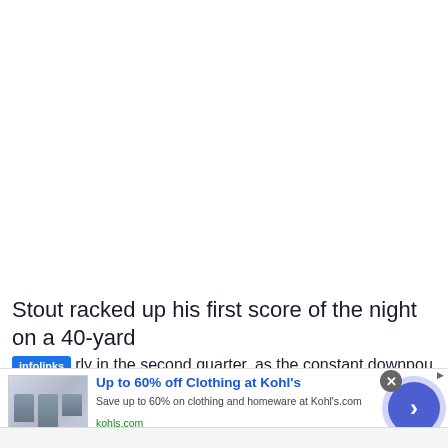Stout racked up his first score of the night on a 40-yard
rly in the second quarter, as the constant downpou
[Figure (screenshot): Advertisement overlay: 'Up to 60% off Clothing at Kohl's' with Infolinks badge and ad close button]